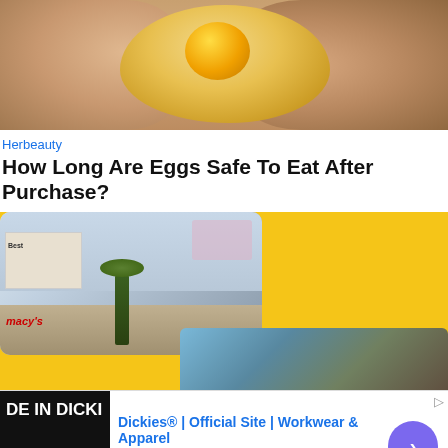[Figure (photo): Close-up photo of hands holding an egg with visible yolk through shell]
Herbeauty
How Long Are Eggs Safe To Eat After Purchase?
[Figure (photo): Photo of a shopping mall interior with palm tree and Macy's store, on yellow background with partially visible second photo]
[Figure (photo): Advertisement: Dickies® | Official Site | Workwear & Apparel - for work pants, work shirts, overalls, and coveralls. www.dickies.com]